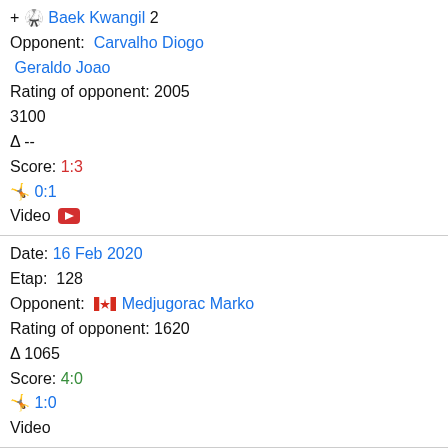+ Baek Kwangil 2
Opponent: Carvalho Diogo Geraldo Joao
Rating of opponent: 2005
3100
Δ --
Score: 1:3
🤼 0:1
Video [YouTube]
Date: 16 Feb 2020
Etap: 128
Opponent: [CA] Medjugorac Marko
Rating of opponent: 1620
Δ 1065
Score: 4:0
🤼 1:0
Video
Date: 16 Feb 2020
Etap: 31